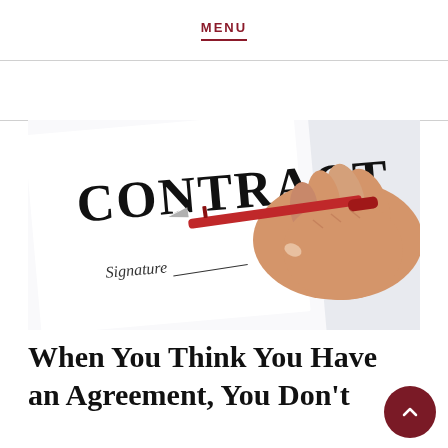MENU
[Figure (photo): A hand holding a red pen about to sign a contract document showing the word CONTRACT in large bold letters and a Signature line below]
When You Think You Have an Agreement, You Don't